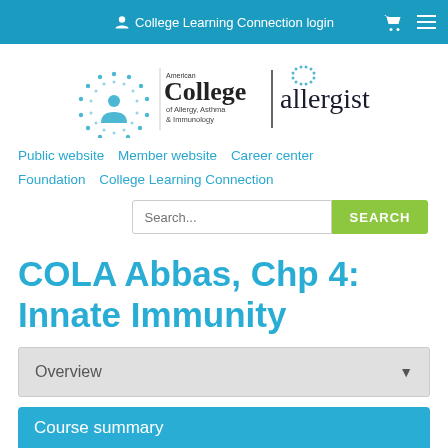College Learning Connection login
[Figure (logo): American College of Allergy, Asthma & Immunology / allergist logo]
Public website   Member website   Career center   Foundation   College Learning Connection
Search...
COLA Abbas, Chp 4: Innate Immunity
Overview
Course summary